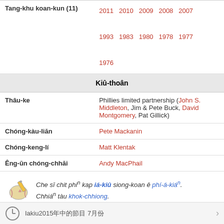| Tang-khu koan-kun (11) | 2011  2010  2009  2008  2007
1993  1983  1980  1978  1977
1976 |
| Kiû-thoân |  |
| Thâu-ke | Phillies limited partnership (John S. Middleton, Jim & Pete Buck, David Montgomery, Pat Gillick) |
| Chóng-kàu-liān | Pete Mackanin |
| Chóng-keng-lí | Matt Klentak |
| Êng-ūn chóng-chhāi | Andy MacPhail |
Che sī chit phiⁿ kap iá-kiû siong-koan ê phí-á-kiáⁿ. Chhiáⁿ tàu khok-chhiong.
Iakiu2015年 7月